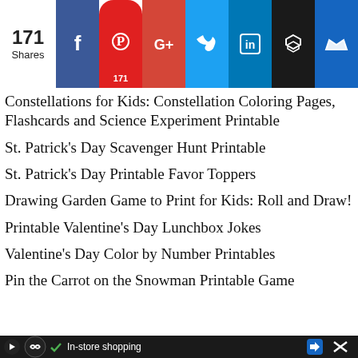[Figure (infographic): Social share bar with 171 shares count, and buttons for Facebook, Pinterest (171), Google+, Twitter, LinkedIn, Buffer, and Crown/other]
Constellations for Kids: Constellation Coloring Pages, Flashcards and Science Experiment Printable
St. Patrick’s Day Scavenger Hunt Printable
St. Patrick’s Day Printable Favor Toppers
Drawing Garden Game to Print for Kids: Roll and Draw!
Printable Valentine’s Day Lunchbox Jokes
Valentine’s Day Color by Number Printables
Pin the Carrot on the Snowman Printable Game
[Figure (screenshot): Advertisement bar at bottom: In-store shopping ad with navigation icons]